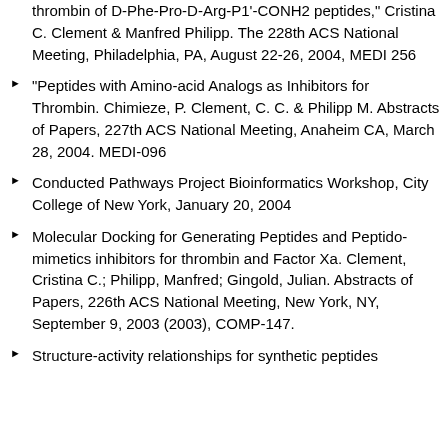thrombin of D-Phe-Pro-D-Arg-P1'-CONH2 peptides," Cristina C. Clement & Manfred Philipp. The 228th ACS National Meeting, Philadelphia, PA, August 22-26, 2004, MEDI 256
"Peptides with Amino-acid Analogs as Inhibitors for Thrombin. Chimieze, P. Clement, C. C. & Philipp M. Abstracts of Papers, 227th ACS National Meeting, Anaheim CA, March 28, 2004. MEDI-096
Conducted Pathways Project Bioinformatics Workshop, City College of New York, January 20, 2004
Molecular Docking for Generating Peptides and Peptido-mimetics inhibitors for thrombin and Factor Xa. Clement, Cristina C.; Philipp, Manfred; Gingold, Julian. Abstracts of Papers, 226th ACS National Meeting, New York, NY, September 9, 2003 (2003), COMP-147.
Structure-activity relationships for synthetic peptides